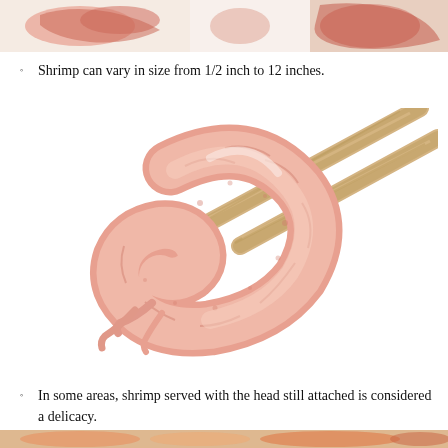[Figure (photo): Top strip showing cooked shrimp/lobster claws, orange-red colored seafood]
Shrimp can vary in size from 1/2 inch to 12 inches.
[Figure (photo): A peeled cooked shrimp curled in a C-shape being held by bamboo chopsticks, photographed on white background]
In some areas, shrimp served with the head still attached is considered a delicacy.
[Figure (photo): Bottom strip showing cooked shrimp with various garnishes]